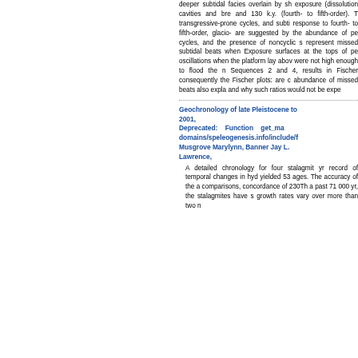deeper subtidal facies overlain by sh exposure (dissolution cavities and bre and 130 k.y. (fourth- to fifth-order). T transgressive-prone cycles, and subti response to fourth- to fifth-order, glacio- are suggested by the abundance of pe cycles, and the presence of noncyclic s represent missed subtidal beats when Exposure surfaces at the tops of pe oscillations when the platform lay abov were not high enough to flood the Sequences 2 and 4, results in Fischer consequently the Fischer plots: are c abundance of missed beats also expla and why such ratios would not be expe
Geochronology of late Pleistocene to 2001, Deprecated: Function get_ma domains/speleogenesis.info/include/f Musgrove Marylynn, Banner Jay L. Lawrence,
A detailed chronology for four stalagmit yr record of temporal changes in hyd yielded 53 ages. The accuracy of the a comparisons, concordance of 230Th a past 71 000 yr, the stalagmites have s growth rates vary over more than two n